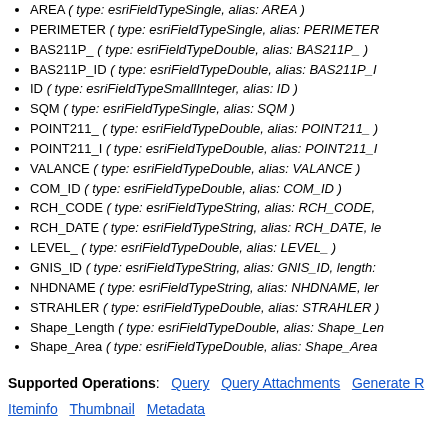AREA ( type: esriFieldTypeSingle, alias: AREA )
PERIMETER ( type: esriFieldTypeSingle, alias: PERIMETER
BAS211P_ ( type: esriFieldTypeDouble, alias: BAS211P_ )
BAS211P_ID ( type: esriFieldTypeDouble, alias: BAS211P_I
ID ( type: esriFieldTypeSmallInteger, alias: ID )
SQM ( type: esriFieldTypeSingle, alias: SQM )
POINT211_ ( type: esriFieldTypeDouble, alias: POINT211_ )
POINT211_I ( type: esriFieldTypeDouble, alias: POINT211_I
VALANCE ( type: esriFieldTypeDouble, alias: VALANCE )
COM_ID ( type: esriFieldTypeDouble, alias: COM_ID )
RCH_CODE ( type: esriFieldTypeString, alias: RCH_CODE,
RCH_DATE ( type: esriFieldTypeString, alias: RCH_DATE, le
LEVEL_ ( type: esriFieldTypeDouble, alias: LEVEL_ )
GNIS_ID ( type: esriFieldTypeString, alias: GNIS_ID, length:
NHDNAME ( type: esriFieldTypeString, alias: NHDNAME, ler
STRAHLER ( type: esriFieldTypeDouble, alias: STRAHLER )
Shape_Length ( type: esriFieldTypeDouble, alias: Shape_Len
Shape_Area ( type: esriFieldTypeDouble, alias: Shape_Area
Supported Operations: Query  Query Attachments  Generate R
Iteminfo  Thumbnail  Metadata